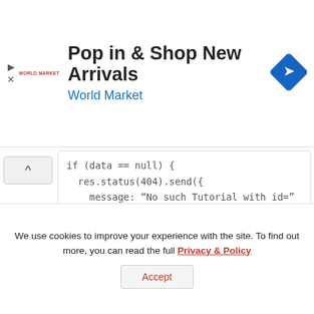[Figure (screenshot): Advertisement banner for World Market: 'Pop in & Shop New Arrivals' with World Market logo and blue diamond navigation icon]
if (data == null) {
  res.status(404).send({
    message: “No such Tutorial with id=” + id
  });
} else {
  res.send(data);
}
}) ...

Looks like the delete and update should
We use cookies to improve your experience with the site. To find out more, you can read the full Privacy & Policy
Accept